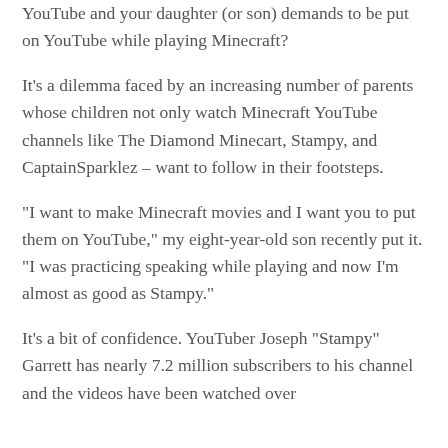YouTube and your daughter (or son) demands to be put on YouTube while playing Minecraft?
It's a dilemma faced by an increasing number of parents whose children not only watch Minecraft YouTube channels like The Diamond Minecart, Stampy, and CaptainSparklez – want to follow in their footsteps.
“I want to make Minecraft movies and I want you to put them on YouTube,” my eight-year-old son recently put it. “I was practicing speaking while playing and now I’m almost as good as Stampy.”
It’s a bit of confidence. YouTuber Joseph “Stampy” Garrett has nearly 7.2 million subscribers to his channel and the videos have been watched over